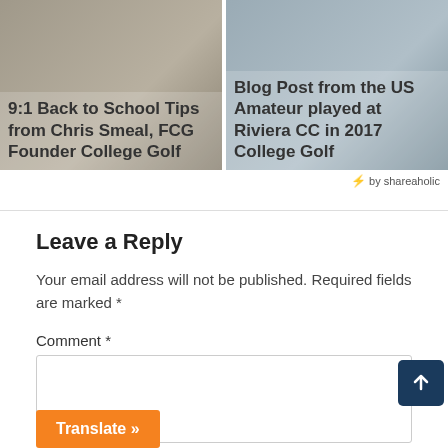[Figure (photo): Card with photo background and title: 9:1 Back to School Tips from Chris Smeal, FCG Founder College Golf]
[Figure (photo): Card with photo background and title: Blog Post from the US Amateur played at Riviera CC in 2017 College Golf]
⚡ by shareaholic
Leave a Reply
Your email address will not be published. Required fields are marked *
Comment *
Translate »